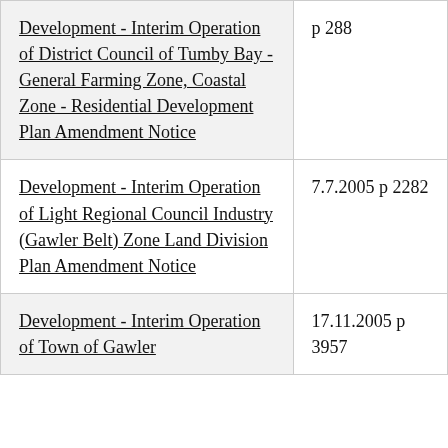| Development - Interim Operation of District Council of Tumby Bay - General Farming Zone, Coastal Zone - Residential Development Plan Amendment Notice | p 288 |
| Development - Interim Operation of Light Regional Council Industry (Gawler Belt) Zone Land Division Plan Amendment Notice | 7.7.2005 p 2282 |
| Development - Interim Operation of Town of Gawler | 17.11.2005 p 3957 |